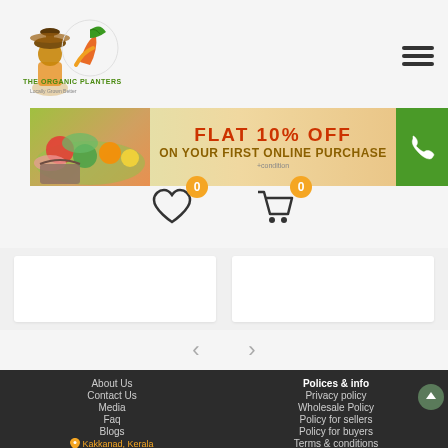[Figure (logo): The Organic Planters logo with character figure and leaf/fruit emblem]
[Figure (illustration): Hamburger menu icon (three horizontal lines)]
[Figure (infographic): Promotional banner: FLAT 10% OFF ON YOUR FIRST ONLINE PURCHASE +condition]
[Figure (infographic): Wishlist heart icon with badge showing 0 and cart icon with badge showing 0]
[Figure (illustration): Navigation previous and next arrows]
About Us
Contact Us
Media
Faq
Blogs
Kakkanad, Kerala
+91 0484 4862650
Polices & info
Privacy policy
Wholesale Policy
Policy for sellers
Policy for buyers
Terms & conditions
Shipping & refund